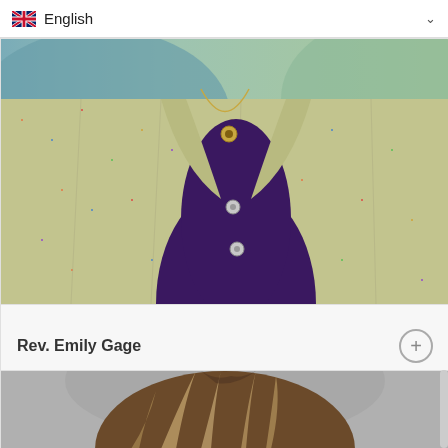English
[Figure (photo): Close-up photo of a person wearing a colorful tweed/bouclé jacket with multicolored flecks over a dark purple button-up shirt with a necklace visible]
Rev. Emily Gage
[Figure (photo): Top of head of a person with highlighted brown/blonde hair against a grey background]